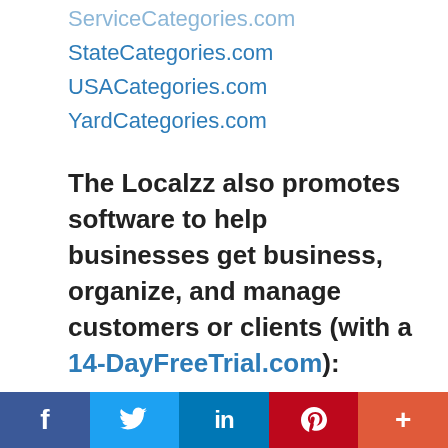ServiceCategories.com
StateCategories.com
USACategories.com
YardCategories.com
The Localzz also promotes software to help businesses get business, organize, and manage customers or clients (with a 14-DayFreeTrial.com):
BusinessesAutomated.com
BusinessesCentralized.com
BusinessesContacted.com
BusinessesCredited.com
BusinessesDigitalized.com
BusinessesEngaged.com
BusinessesFollowed.com
f  [Twitter bird]  in  P  +